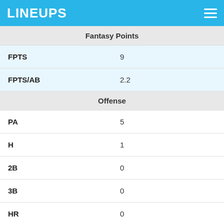LINEUPS
| Fantasy Points |  |
| FPTS | 9 |
| FPTS/AB | 2.2 |
| Offense |  |
| PA | 5 |
| H | 1 |
| 2B | 0 |
| 3B | 0 |
| HR | 0 |
| R | 0 |
| RBI | 2 |
| SB | 0 |
| CS | 0 |